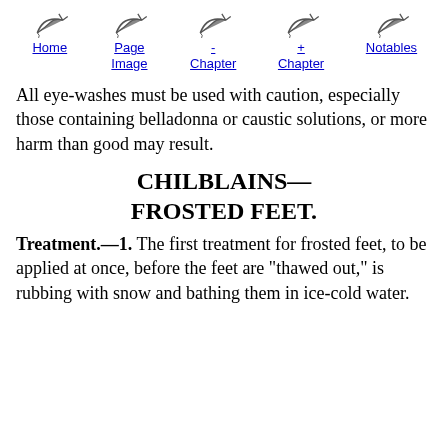Home | Page Image | - Chapter | + Chapter | Notables
All eye-washes must be used with caution, especially those containing belladonna or caustic solutions, or more harm than good may result.
CHILBLAINS—FROSTED FEET.
Treatment.—1. The first treatment for frosted feet, to be applied at once, before the feet are "thawed out," is rubbing with snow and bathing them in ice-cold water.